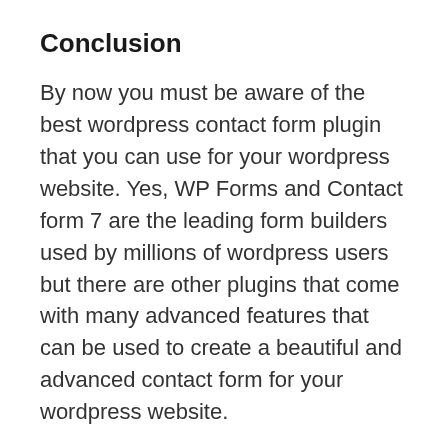Conclusion
By now you must be aware of the best wordpress contact form plugin that you can use for your wordpress website. Yes, WP Forms and Contact form 7 are the leading form builders used by millions of wordpress users but there are other plugins that come with many advanced features that can be used to create a beautiful and advanced contact form for your wordpress website.
If you are a beginner then it's always recommended to go with the free version of the plugin because the feature offered by the free plugin is considered sufficient enough for new beginners. However, if you think